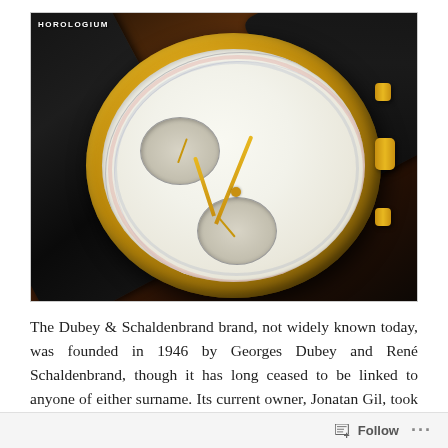[Figure (photo): A luxury chronograph wristwatch with a gold-colored case and black leather strap, featuring a white dial with sub-dials and tachymeter markings. The watch is displayed on a dark wooden surface. A watermark reading 'HOROLOGIUM' is visible in the top-left corner of the image.]
The Dubey & Schaldenbrand brand, not widely known today, was founded in 1946 by Georges Dubey and René Schaldenbrand, though it has long ceased to be linked to anyone of either surname. Its current owner, Jonatan Gil, took over in 2009 at the tender age of 22 after purchasing the brand from Cinette Robert, who revived the brand in 1995.